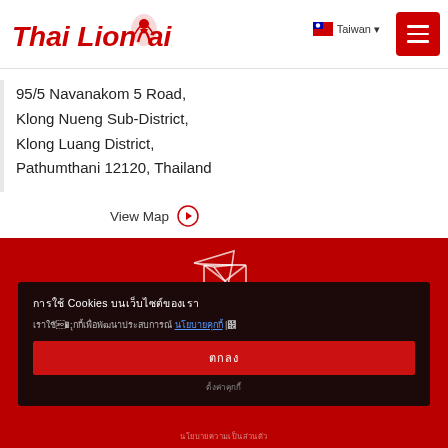[Figure (logo): Thai Lion Air logo in red with stylized lion and text]
Taiwan
95/5 Navanakom 5 Road,
Klong Nueng Sub-District,
Klong Luang District,
Pathumthani 12120, Thailand
View Map ▶
[Figure (illustration): Airplane and envelope icon (newsletter signup) on red background]
การใช้ Cookies บนเว็บไซต์ของเรา
เราใช้คุกกี้เพื่อพัฒนาประสบการณ์ของคุณ นโยบายคุกกี้ |}
ตกลง
ตั้งค่าคุกกี้
นโยบายความเป็นส่วนตัว